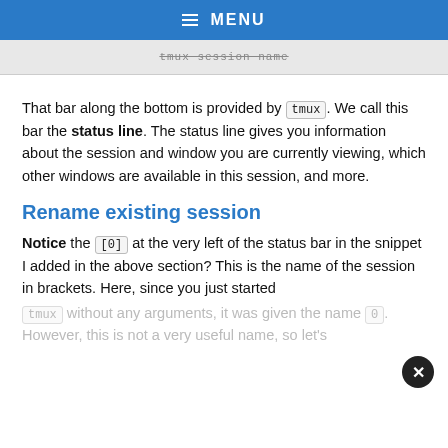≡ MENU
[Figure (screenshot): A screenshot bar showing a tmux session status line (grayed out/redacted text)]
That bar along the bottom is provided by tmux. We call this bar the status line. The status line gives you information about the session and window you are currently viewing, which other windows are available in this session, and more.
Rename existing session
Notice the [0] at the very left of the status bar in the snippet I added in the above section? This is the name of the session in brackets. Here, since you just started tmux without any arguments, it was given the name 0. However, this is not a very useful name, so let's